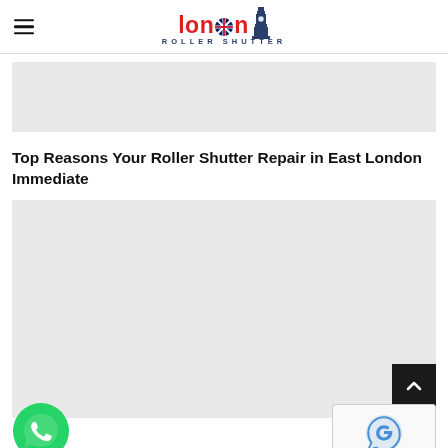London Roller Shutter — site header with hamburger menu and logo
[Figure (other): Advertisement banner placeholder (grey rectangle)]
Top Reasons Your Roller Shutter Repair in East London Immediate
[Figure (other): Large advertisement/image banner placeholder (grey rectangle) with scroll-to-top button (dark square with up chevron), WhatsApp chat button (green circle with phone icon), and reCAPTCHA badge]
Privacy · Terms